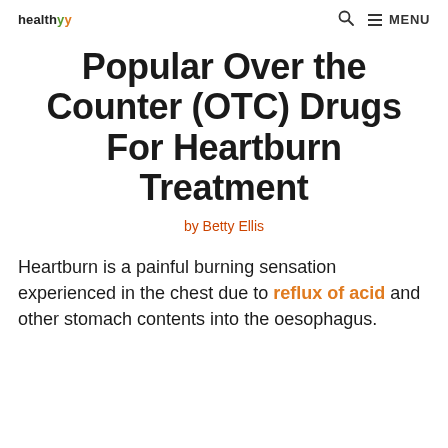healthyy | MENU
Popular Over the Counter (OTC) Drugs For Heartburn Treatment
by Betty Ellis
Heartburn is a painful burning sensation experienced in the chest due to reflux of acid and other stomach contents into the oesophagus.